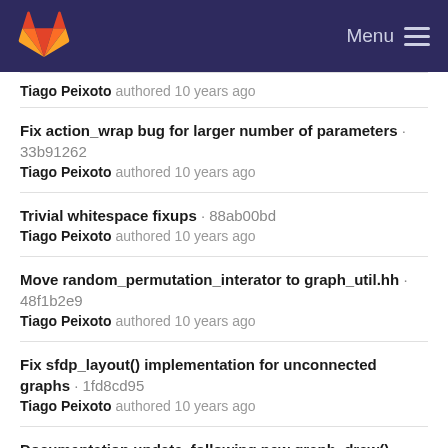GitLab — Menu
Tiago Peixoto authored 10 years ago
Fix action_wrap bug for larger number of parameters · 33b91262
Tiago Peixoto authored 10 years ago
Trivial whitespace fixups · 88ab00bd
Tiago Peixoto authored 10 years ago
Move random_permutation_interator to graph_util.hh · 48f1b2e9
Tiago Peixoto authored 10 years ago
Fix sfdp_layout() implementation for unconnected graphs · 1fd8cd95
Tiago Peixoto authored 10 years ago
Documentation update, following new graph_draw() function · 11e2b682